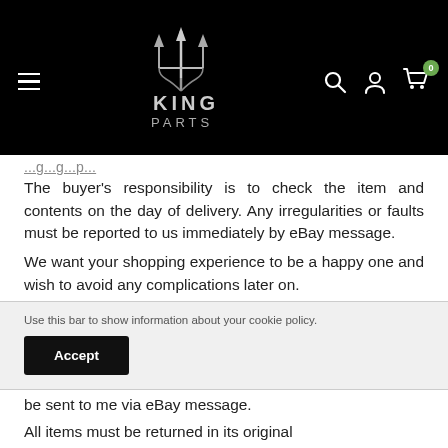[Figure (logo): King Parts logo with trident symbol above text 'KING PARTS' in silver/grey on black background]
The buyer's responsibility is to check the item and contents on the day of delivery. Any irregularities or faults must be reported to us immediately by eBay message.
We want your shopping experience to be a happy one and wish to avoid any complications later on.
The package content must be checked before the courier leaves. If any damage is noticed
Use this bar to show information about your cookie policy.
Accept
be sent to me via eBay message.
All items must be returned in its original